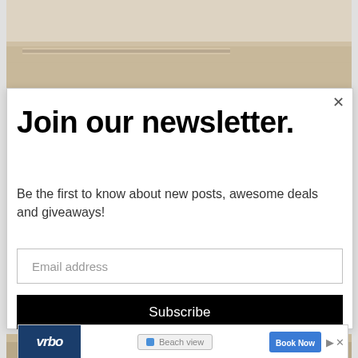[Figure (photo): Partial view of a room interior with beige walls and ceiling, upper portion of doorframe visible]
Join our newsletter.
Be the first to know about new posts, awesome deals and giveaways!
Email address
Subscribe
[Figure (photo): Bottom portion of a building exterior photo, partially visible]
[Figure (screenshot): Vrbo advertisement banner with logo, beach view search input, and Book Now button]